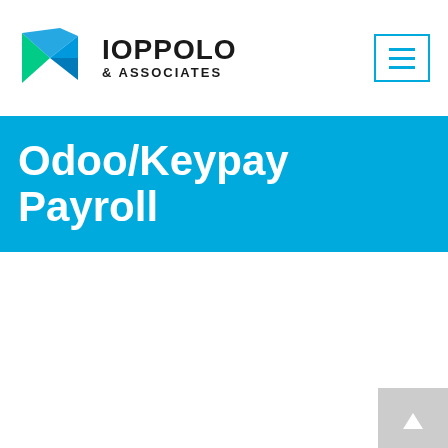[Figure (logo): Ioppolo & Associates logo: geometric play-button style icon in blue and green, with company name IOPPOLO & ASSOCIATES in bold black text]
Odoo/Keypay Payroll